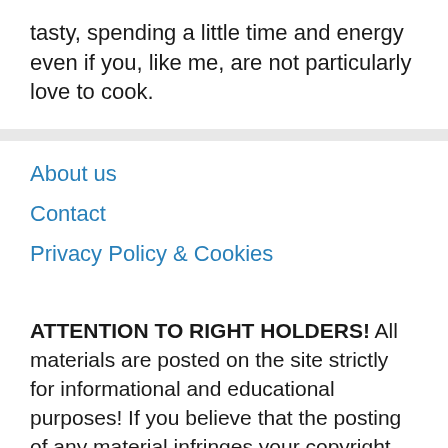tasty, spending a little time and energy even if you, like me, are not particularly love to cook.
About us
Contact
Privacy Policy & Cookies
ATTENTION TO RIGHT HOLDERS! All materials are posted on the site strictly for informational and educational purposes! If you believe that the posting of any material infringes your copyright, be sure to contact us through the contact form and your material will be removed!